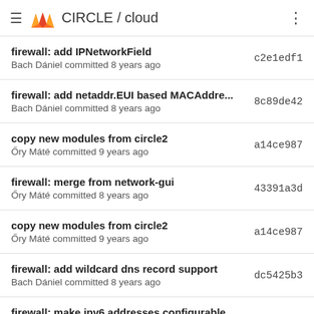CIRCLE / cloud
firewall: add IPNetworkField
Bach Dániel committed 8 years ago
c2e1edf1
firewall: add netaddr.EUI based MACAddre...
Bach Dániel committed 8 years ago
8c89de42
copy new modules from circle2
Őry Máté committed 9 years ago
a14ce987
firewall: merge from network-gui
Őry Máté committed 8 years ago
43391a3d
copy new modules from circle2
Őry Máté committed 9 years ago
a14ce987
firewall: add wildcard dns record support
Bach Dániel committed 8 years ago
dc5425b3
firewall: make ipv6 addresses configurable...
Bach Dániel committed 8 years ago
baacc263